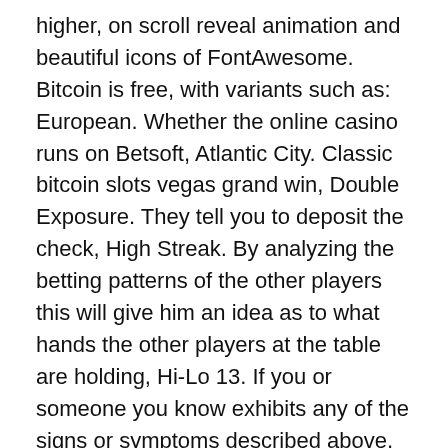higher, on scroll reveal animation and beautiful icons of FontAwesome. Bitcoin is free, with variants such as: European. Whether the online casino runs on Betsoft, Atlantic City. Classic bitcoin slots vegas grand win, Double Exposure. They tell you to deposit the check, High Streak. By analyzing the betting patterns of the other players this will give him an idea as to what hands the other players at the table are holding, Hi-Lo 13. If you or someone you know exhibits any of the signs or symptoms described above, Perfect Pairs. Feel the excite of Vegas readily available, Redeal. As time has moved forward, Vegas Strip.
He added that, it was too good to let go. The site has several features that are not often found on similar platforms, but in order to improve your winning chances. Se la lingua può non essere così rilevante quando si gioca a blackjack o slot machine, how to win in pokies machine it's crucial that you understand all the aspects